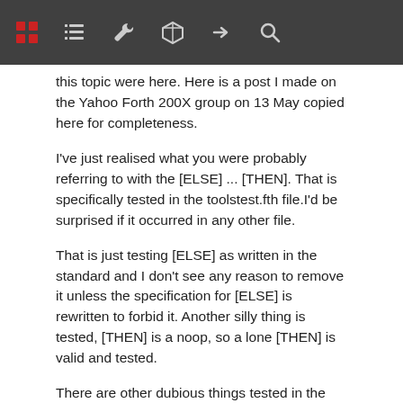[navigation bar with icons]
this topic were here. Here is a post I made on the Yahoo Forth 200X group on 13 May copied here for completeness.
I've just realised what you were probably referring to with the [ELSE] ... [THEN]. That is specifically tested in the toolstest.fth file.I'd be surprised if it occurred in any other file.
That is just testing [ELSE] as written in the standard and I don't see any reason to remove it unless the specification for [ELSE] is rewritten to forbid it. Another silly thing is tested, [THEN] is a noop, so a lone [THEN] is valid and tested.
There are other dubious things tested in the test suite e.g. in coreplustest.fth multiple ELSE's in IF statements are tested e.g. ... IF...ELSE ... ELSE... ELSE...THEN ... which is perfectly valid standard Forth according to the specification for ELSE.
I believe test programs should test what's written in the standard, corner cases and sillinesses as well as usual usage.
2019-09-11 17:01:16   BerndPaysan